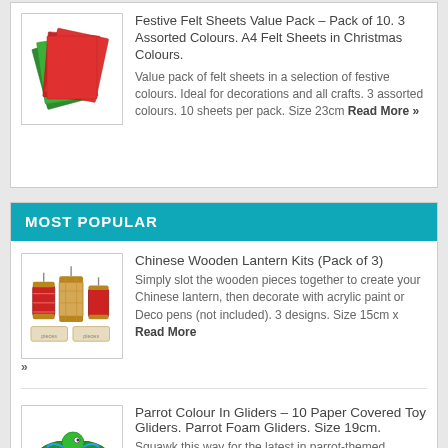[Figure (photo): Festive felt sheets in red and green colours, fanned out]
Festive Felt Sheets Value Pack – Pack of 10. 3 Assorted Colours. A4 Felt Sheets in Christmas Colours.
Value pack of felt sheets in a selection of festive colours. Ideal for decorations and all crafts. 3 assorted colours. 10 sheets per pack. Size 23cm Read More »
MOST POPULAR
[Figure (photo): Chinese wooden lantern kits, showing assembled and unassembled lanterns]
Chinese Wooden Lantern Kits (Pack of 3)
Simply slot the wooden pieces together to create your Chinese lantern, then decorate with acrylic paint or Deco pens (not included). 3 designs. Size 15cm x Read More » »
[Figure (photo): Parrot colour-in gliders, colourful paper toy gliders]
Parrot Colour In Gliders – 10 Paper Covered Toy Gliders. Parrot Foam Gliders. Size 19cm.
Squawk this way for the latest in parrot-themed fun!Our incredible Parrot Colour-in Glider Kits are so realistic